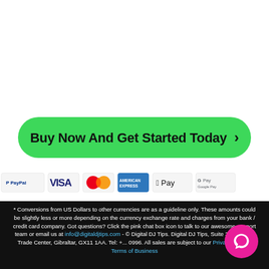[Figure (other): Green pill-shaped CTA button with text 'Buy Now And Get Started Today >' in black bold font]
[Figure (other): Row of payment icons: PayPal, VISA, Mastercard, American Express, Apple Pay, Google Pay]
* Conversions from US Dollars to other currencies are as a guideline only. These amounts could be slightly less or more depending on the currency exchange rate and charges from your bank / credit card company. Got questions? Click the pink chat box icon to talk to our awesome support team or email us at info@digitaldjtips.com - © Digital DJ Tips. Digital DJ Tips, Suite 3.05, World Trade Center, Gibraltar, GX11 1AA. Tel: +... 0996. All sales are subject to our Privacy Policy / Terms of Business